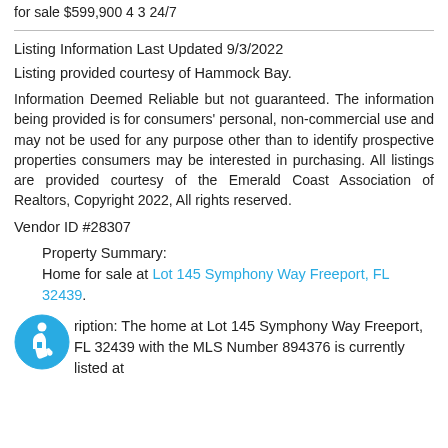for sale $599,900 4 3 24/7
Listing Information Last Updated 9/3/2022
Listing provided courtesy of Hammock Bay.
Information Deemed Reliable but not guaranteed. The information being provided is for consumers' personal, non-commercial use and may not be used for any purpose other than to identify prospective properties consumers may be interested in purchasing. All listings are provided courtesy of the Emerald Coast Association of Realtors, Copyright 2022, All rights reserved.
Vendor ID #28307
Property Summary:
Home for sale at Lot 145 Symphony Way Freeport, FL 32439.
Description: The home at Lot 145 Symphony Way Freeport, FL 32439 with the MLS Number 894376 is currently listed at